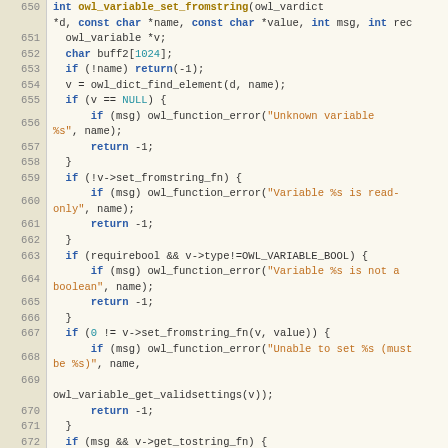[Figure (screenshot): Source code viewer showing C code for owl_variable_set_fromstring function, lines 650-676, with syntax highlighting on a cream/tan background. Line numbers shown on left in a darker column.]